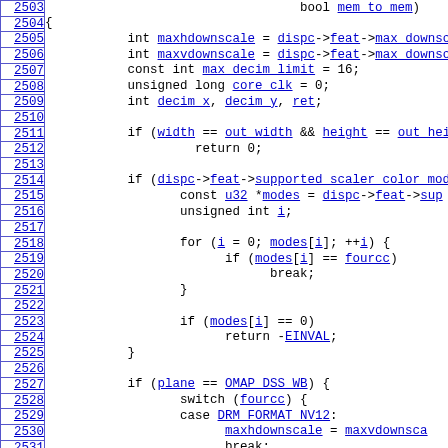[Figure (screenshot): Source code listing showing C function body with line numbers 2503-2532, featuring variable declarations, conditional checks, and switch-case statements with hyperlinked identifiers in blue monospace font.]